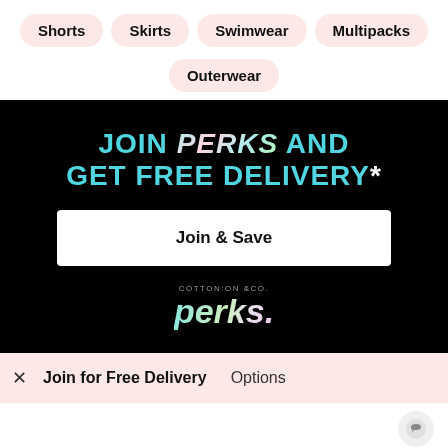Shorts
Skirts
Swimwear
Multipacks
Outerwear
[Figure (infographic): Black promotional banner reading 'JOIN PERKS AND GET FREE DELIVERY*' with a white 'Join & Save' button and the Cotton On & Co. Perks logo in holographic/iridescent text.]
Join & Save
COTTON:ON &Co. perks.
× Join for Free Delivery Options